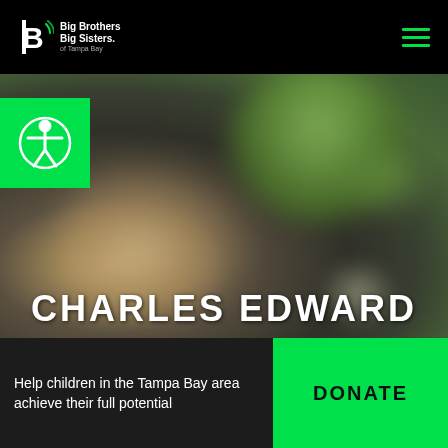[Figure (logo): Big Brothers Big Sisters of Tampa Bay logo — white 'B' icon with signal arcs and text on black background]
[Figure (photo): Blurred outdoor background photo showing dark foliage and bokeh light spots in green and tan tones]
[Figure (illustration): Green square accessibility icon button showing a person with arms outstretched in universal accessibility symbol]
CHARLES EDWARD
Help children in the Tampa Bay area achieve their full potential
DONATE